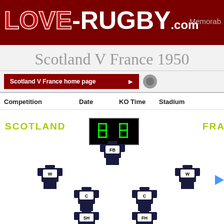LOVE-RUGBY.com Memorab
Scotland V France 1950
Scotland V France home page
| Competition | Date | KO Time | Stadium |
| --- | --- | --- | --- |
SCOTLAND
[Figure (other): Scoreboard showing 08]
FRA
[Figure (illustration): Rugby team formation diagram showing jersey icons with positions: FB (fullback), W (wing left), W (wing right), C (centre left), C (centre right), SH (scrum-half), FH (fly-half) for Scotland vs France 1950 match]